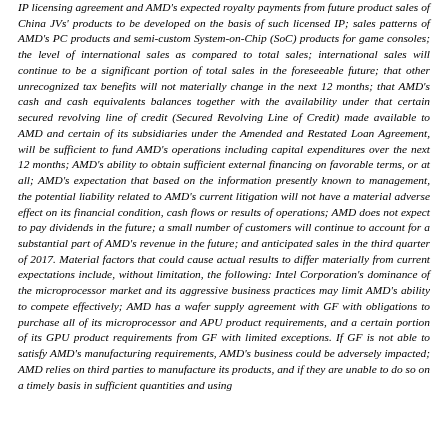IP licensing agreement and AMD's expected royalty payments from future product sales of China JVs' products to be developed on the basis of such licensed IP; sales patterns of AMD's PC products and semi-custom System-on-Chip (SoC) products for game consoles; the level of international sales as compared to total sales; international sales will continue to be a significant portion of total sales in the foreseeable future; that other unrecognized tax benefits will not materially change in the next 12 months; that AMD's cash and cash equivalents balances together with the availability under that certain secured revolving line of credit (Secured Revolving Line of Credit) made available to AMD and certain of its subsidiaries under the Amended and Restated Loan Agreement, will be sufficient to fund AMD's operations including capital expenditures over the next 12 months; AMD's ability to obtain sufficient external financing on favorable terms, or at all; AMD's expectation that based on the information presently known to management, the potential liability related to AMD's current litigation will not have a material adverse effect on its financial condition, cash flows or results of operations; AMD does not expect to pay dividends in the future; a small number of customers will continue to account for a substantial part of AMD's revenue in the future; and anticipated sales in the third quarter of 2017. Material factors that could cause actual results to differ materially from current expectations include, without limitation, the following: Intel Corporation's dominance of the microprocessor market and its aggressive business practices may limit AMD's ability to compete effectively; AMD has a wafer supply agreement with GF with obligations to purchase all of its microprocessor and APU product requirements, and a certain portion of its GPU product requirements from GF with limited exceptions. If GF is not able to satisfy AMD's manufacturing requirements, AMD's business could be adversely impacted; AMD relies on third parties to manufacture its products, and if they are unable to do so on a timely basis in sufficient quantities and using